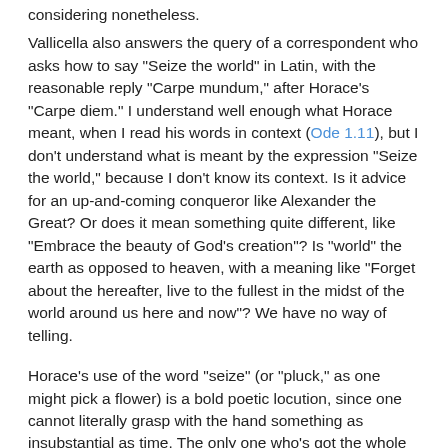considering nonetheless.
Vallicella also answers the query of a correspondent who asks how to say "Seize the world" in Latin, with the reasonable reply "Carpe mundum," after Horace's "Carpe diem." I understand well enough what Horace meant, when I read his words in context (Ode 1.11), but I don't understand what is meant by the expression "Seize the world," because I don't know its context. Is it advice for an up-and-coming conqueror like Alexander the Great? Or does it mean something quite different, like "Embrace the beauty of God's creation"? Is "world" the earth as opposed to heaven, with a meaning like "Forget about the hereafter, live to the fullest in the midst of the world around us here and now"? We have no way of telling.
Horace's use of the word "seize" (or "pluck," as one might pick a flower) is a bold poetic locution, since one cannot literally grasp with the hand something as insubstantial as time. The only one who's got the whole world in his hand is God, as the spiritual says. In addition to "mundus," there are other possible ways to translate "world" into Latin,